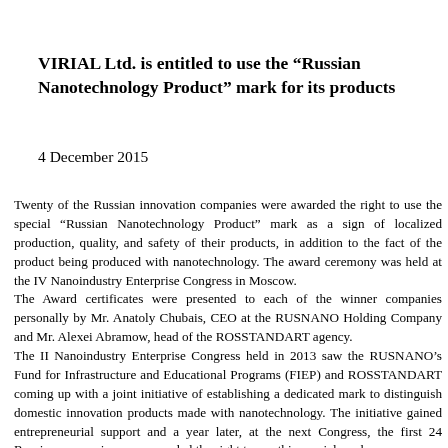VIRIAL Ltd. is entitled to use the “Russian Nanotechnology Product” mark for its products
4 December 2015
Twenty of the Russian innovation companies were awarded the right to use the special “Russian Nanotechnology Product” mark as a sign of localized production, quality, and safety of their products, in addition to the fact of the product being produced with nanotechnology. The award ceremony was held at the IV Nanoindustry Enterprise Congress in Moscow.
The Award certificates were presented to each of the winner companies personally by Mr. Anatoly Chubais, CEO at the RUSNANO Holding Company and Mr. Alexei Abramow, head of the ROSSTANDART agency.
The II Nanoindustry Enterprise Congress held in 2013 saw the RUSNANO’s Fund for Infrastructure and Educational Programs (FIEP) and ROSSTANDART coming up with a joint initiative of establishing a dedicated mark to distinguish domestic innovation products made with nanotechnology. The initiative gained entrepreneurial support and a year later, at the next Congress, the first 24 Russian companies were awarded the right to use this special mark.
This year another 20 companies, VIRIAL Ltd. being among these, were awarded